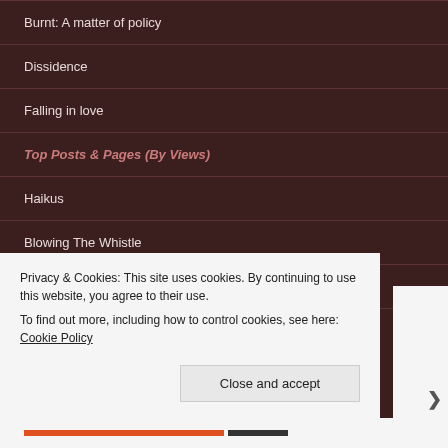Burnt: A matter of policy
Dissidence
Falling in love
Top Posts & Pages (By Views)
Haikus
Blowing The Whistle
Finite Creatures: Mortal loss
Privacy & Cookies: This site uses cookies. By continuing to use this website, you agree to their use. To find out more, including how to control cookies, see here: Cookie Policy
Close and accept